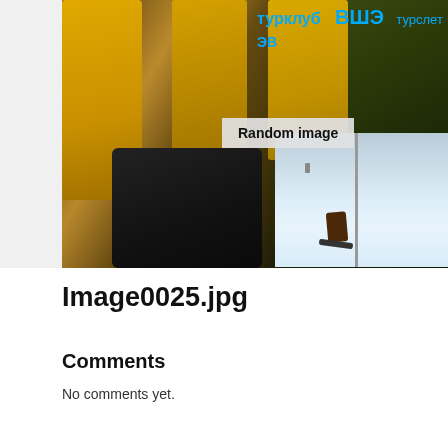[Figure (photo): Outdoor group photo with people in yellow jackets among autumn leaves, with a 'турклуб ВШЭ турслет' banner visible. Overlapping with a winter ski slope photo showing a snowboarder. An orange banner partially visible on the right. A 'Random image' label overlay is present.]
Image0025.jpg
Comments
No comments yet.